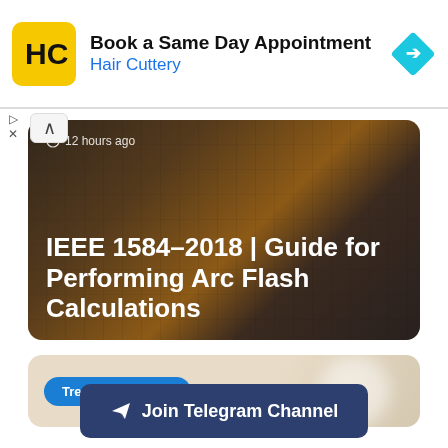[Figure (screenshot): Advertisement banner for Hair Cuttery with yellow logo, 'Book a Same Day Appointment' heading, and blue directional arrow icon]
[Figure (photo): Dark industrial arc flash photo with bright flame/explosion, overlaid with text '12 hours ago' and article title 'IEEE 1584-2018 | Guide for Performing Arc Flash Calculations']
IEEE 1584-2018 | Guide for Performing Arc Flash Calculations
[Figure (screenshot): Trending Courses card with beige background and blue pill button labeled 'Trending Courses']
Join Telegram Channel